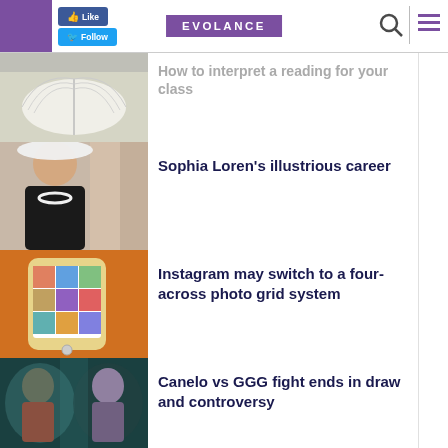EVOLANCE
How to interpret a reading for your class
[Figure (photo): Open book with pages fanned out]
Sophia Loren's illustrious career
[Figure (photo): Sophia Loren portrait in black dress with pearl necklace and wide-brimmed hat]
Instagram may switch to a four-across photo grid system
[Figure (photo): Smartphone showing Instagram app on orange background]
Canelo vs GGG fight ends in draw and controversy
[Figure (photo): Two boxers facing each other in dramatic lighting]